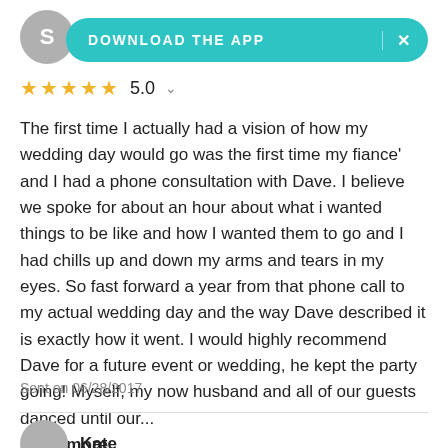[Figure (screenshot): Gray circular avatar with letter S]
[Figure (infographic): Teal download the app banner with X close button]
★★★★★ 5.0
The first time I actually had a vision of how my wedding day would go was the first time my fiance' and I had a phone consultation with Dave. I believe we spoke for about an hour about what i wanted things to be like and how I wanted them to go and I had chills up and down my arms and tears in my eyes. So fast forward a year from that phone call to my actual wedding day and the way Dave described it is exactly how it went. I would highly recommend Dave for a future event or wedding, he kept the party going! Myself, my now husband and all of our guests danced until our...
Read more
Sent on 06/28/2017
Kate